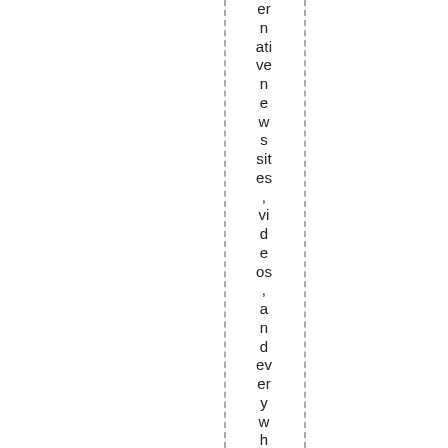er n ati ve n e w s sit es , vi d e os , a n d ev er y w h er e ch e m tr